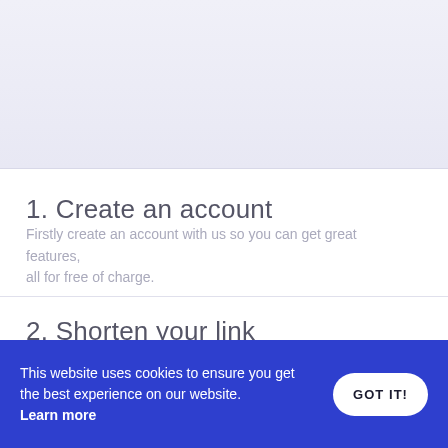1. Create an account
Firstly create an account with us so you can get great features, all for free of charge.
2. Shorten your link
Shorten or hide your link to an unique and small one in one easy step and for free.
This website uses cookies to ensure you get the best experience on our website. Learn more